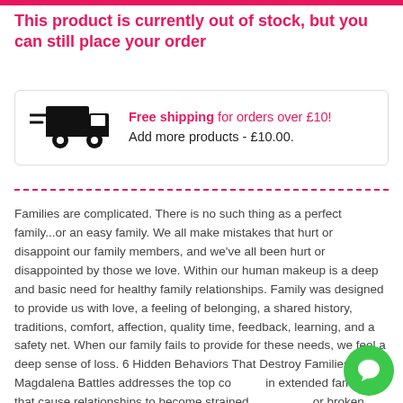This product is currently out of stock, but you can still place your order
[Figure (infographic): Shipping truck icon with free shipping offer. Text reads: Free shipping for orders over £10! Add more products - £10.00.]
Families are complicated. There is no such thing as a perfect family...or an easy family. We all make mistakes that hurt or disappoint our family members, and we've all been hurt or disappointed by those we love. Within our human makeup is a deep and basic need for healthy family relationships. Family was designed to provide us with love, a feeling of belonging, a shared history, traditions, comfort, affection, quality time, feedback, learning, and a safety net. When our family fails to provide for these needs, we feel a deep sense of loss. 6 Hidden Behaviors That Destroy Families by Dr. Magdalena Battles addresses the top conflicts in extended families that cause relationships to become strained, damaged, or broken. These hidden behaviors are: criticism, gossip, lack of respect, deception, refusing to accept differences, and a failure to apologize and forgive. Dr. Battles provides practical tips and solutions based on research,